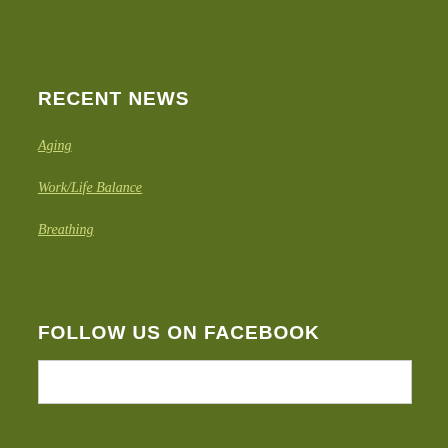RECENT NEWS
Aging
Work/Life Balance
Breathing
FOLLOW US ON FACEBOOK
[Figure (other): White Facebook embed/widget box]